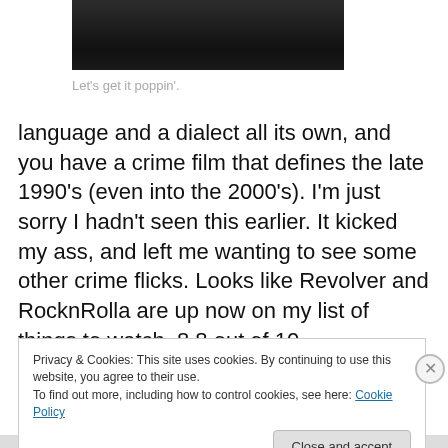[Figure (screenshot): Dark scene from a crime film, partial screenshot at top of page]
Let's get it poppin'.
language and a dialect all its own, and you have a crime film that defines the late 1990's (even into the 2000's). I'm just sorry I hadn't seen this earlier. It kicked my ass, and left me wanting to see some other crime flicks. Looks like Revolver and RocknRolla are up now on my list of things to watch. 8.8 out of 10.
Privacy & Cookies: This site uses cookies. By continuing to use this website, you agree to their use.
To find out more, including how to control cookies, see here: Cookie Policy